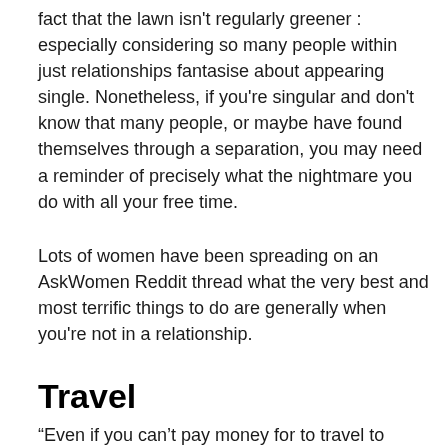fact that the lawn isn't regularly greener : especially considering so many people within just relationships fantasise about appearing single. Nonetheless, if you're singular and don't know that many people, or maybe have found themselves through a separation, you may need a reminder of precisely what the nightmare you do with all your free time.
Lots of women have been spreading on an AskWomen Reddit thread what the very best and most terrific things to do are generally when you're not in a relationship.
Travel
“Even if you can’t pay money for to travel to some other countries and also expensive attractions at least stay or walking. I’m going to participate in getting some sort of kite hurtling competition at once and also pc a try trip. Make plans and additionally do ideas that you never normally